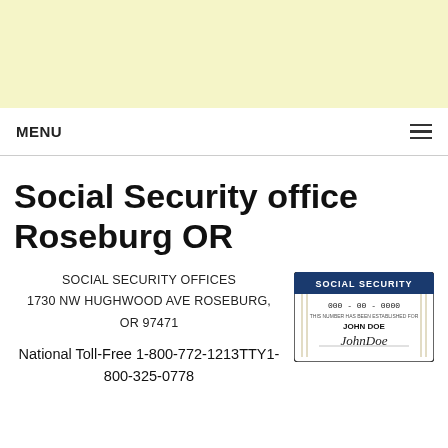[Figure (other): Yellow/cream banner area at top of page]
MENU ≡
Social Security office Roseburg OR
SOCIAL SECURITY OFFICES
1730 NW HUGHWOOD AVE ROSEBURG, OR 97471
[Figure (photo): Social Security card image showing 'JOHN DOE' with signature]
National Toll-Free 1-800-772-1213TTY1-800-325-0778